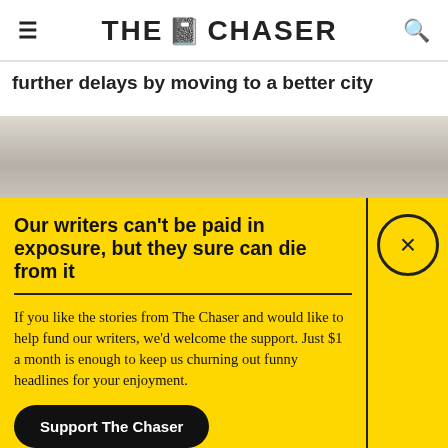THE CHASER
further delays by moving to a better city
[Figure (photo): Partial view of a person's head/hair, blurred background, light tones]
Our writers can't be paid in exposure, but they sure can die from it
If you like the stories from The Chaser and would like to help fund our writers, we'd welcome the support. Just $1 a month is enough to keep us churning out funny headlines for your enjoyment.
Support The Chaser
Sick of this popup? Click here to never see this again.